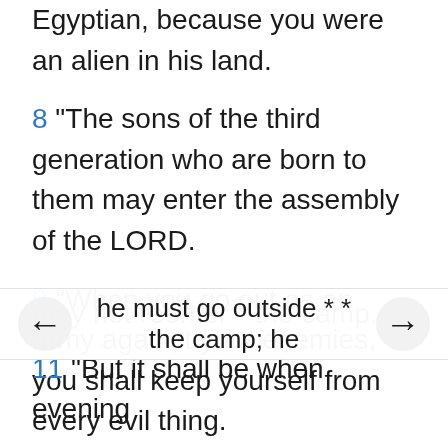Egyptian, because you were an alien in his land.
8 "The sons of the third generation who are born to them may enter the assembly of the LORD.
9 "When you go out as an army against your enemies, you shall keep yourself from every evil thing.
10 "If there is among you any man who is unclean * because of a nocturnal emission, he must go outside * * the camp; he may not reenter * the camp.
11 "But it shall be when evening